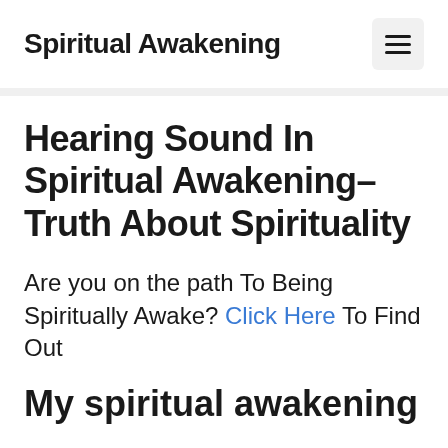Spiritual Awakening
Hearing Sound In Spiritual Awakening–Truth About Spirituality
Are you on the path To Being Spiritually Awake? Click Here To Find Out
My spiritual awakening